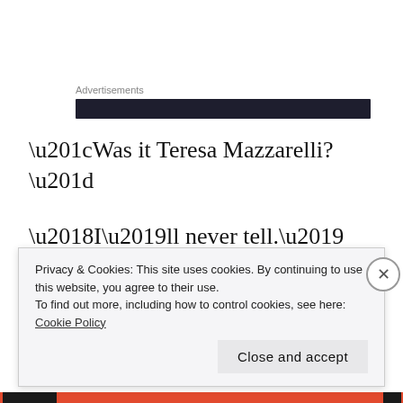Advertisements
[Figure (other): Dark advertisement banner bar]
“Was it Teresa Mazzarelli?”
‘I’ll never tell.’
“Was it Nina Capelli?”
Privacy & Cookies: This site uses cookies. By continuing to use this website, you agree to their use.
To find out more, including how to control cookies, see here: Cookie Policy
Close and accept